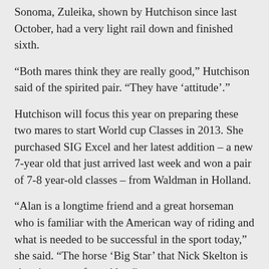Sonoma, Zuleika, shown by Hutchison since last October, had a very light rail down and finished sixth.
“Both mares think they are really good,” Hutchison said of the spirited pair. “They have ‘attitude’.”
Hutchison will focus this year on preparing these two mares to start World cup Classes in 2013. She purchased SIG Excel and her latest addition – a new 7-year old that just arrived last week and won a pair of 7-8 year-old classes – from Waldman in Holland.
“Alan is a longtime friend and a great horseman who is familiar with the American way of riding and what is needed to be successful in the sport today,” she said. “The horse ‘Big Star’ that Nick Skelton is showing came from Alan.”
Be Sociable, Share!